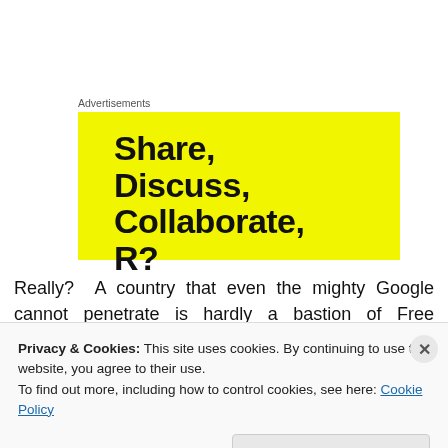Advertisements
[Figure (illustration): Yellow advertisement banner with bold black text reading 'Share, Discuss, Collaborate, R?' on a bright yellow background]
Really? A country that even the mighty Google cannot penetrate is hardly a bastion of Free Speech. According to
Privacy & Cookies: This site uses cookies. By continuing to use this website, you agree to their use.
To find out more, including how to control cookies, see here: Cookie Policy
Close and accept